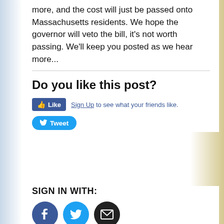more, and the cost will just be passed onto Massachusetts residents. We hope the governor will veto the bill, it's not worth passing. We'll keep you posted as we hear more...
Do you like this post?
[Figure (infographic): Facebook Like button with Sign Up link saying 'to see what your friends like.' and a Twitter Tweet button below]
SIGN IN WITH:
[Figure (infographic): Three social login icons: Facebook (dark blue circle), Twitter (light blue circle), Email (black circle with envelope)]